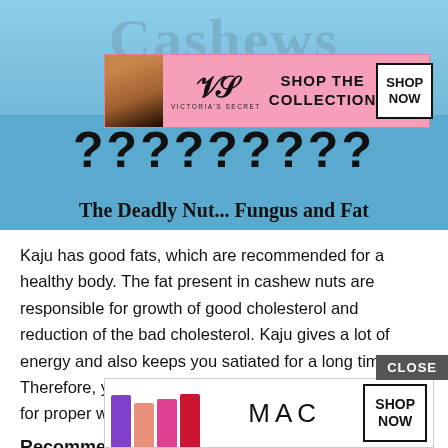[Figure (screenshot): Hero image with blue background showing 'Cashews' title, a Victoria's Secret advertisement banner overlay, text 'The Deadly Nut... Fungus and Fat', and large question marks]
Kaju has good fats, which are recommended for a healthy body. The fat present in cashew nuts are responsible for growth of good cholesterol and reduction of the bad cholesterol. Kaju gives a lot of energy and also keeps you satiated for a long time. Therefore, you can consume 3-4 cashew nuts everyday for proper weight management.
Recommended Reading:
Does
[Figure (screenshot): MAC cosmetics advertisement with lipsticks in purple, peach, pink and red colors, MAC logo, and SHOP NOW button]